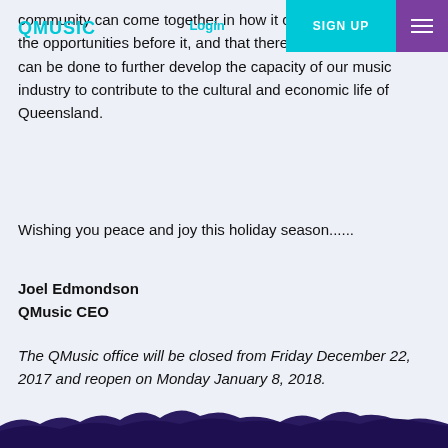QMUSIC | Login | SIGN UP
community can come together in how it can make the most of the opportunities before it, and that there is a lot more that can be done to further develop the capacity of our music industry to contribute to the cultural and economic life of Queensland.
Wishing you peace and joy this holiday season......
Joel Edmondson
QMusic CEO
The QMusic office will be closed from Friday December 22, 2017 and reopen on Monday January 8, 2018.